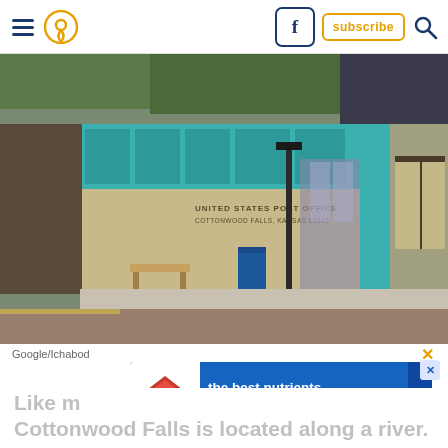Navigation bar with hamburger menu, location pin, Facebook icon, subscribe button, search icon
[Figure (photo): United States Post Office building in Cottonwood Falls, Kansas. Brick building with teal/turquoise upper facade, glass entrance doors, a blue mailbox in front, a black street lamp, a wood bench, and a bulletin board shelter to the right. Brick-paved street in foreground.]
Google/Ichabod
[Figure (infographic): Hill's pet nutrition advertisement: 'the best nutrients for their best life' on blue background with Hill's logo.]
Like m... Cottonwood Falls is located along a river.